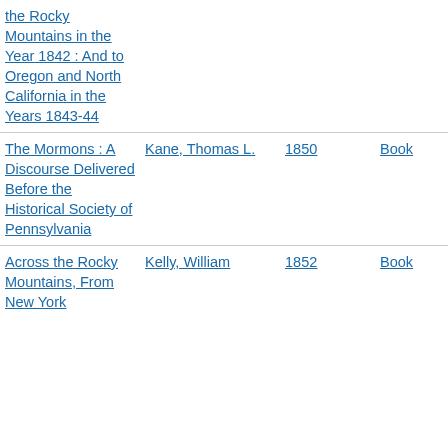| Title | Author | Year | Type |
| --- | --- | --- | --- |
| the Rocky Mountains in the Year 1842 : And to Oregon and North California in the Years 1843-44 |  |  |  |
| The Mormons : A Discourse Delivered Before the Historical Society of Pennsylvania | Kane, Thomas L. | 1850 | Book |
| Across the Rocky Mountains, From New York | Kelly, William | 1852 | Book |